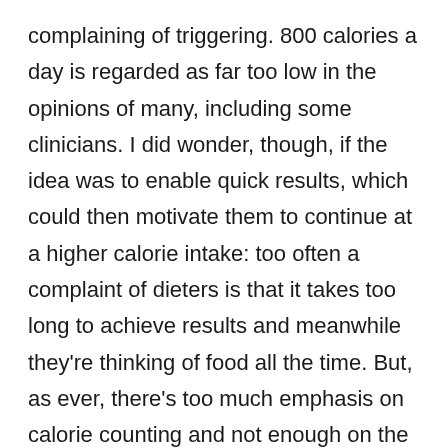complaining of triggering. 800 calories a day is regarded as far too low in the opinions of many, including some clinicians. I did wonder, though, if the idea was to enable quick results, which could then motivate them to continue at a higher calorie intake: too often a complaint of dieters is that it takes too long to achieve results and meanwhile they're thinking of food all the time. But, as ever, there's too much emphasis on calorie counting and not enough on the underlying psychological reasons people are overeating in the first place. A key question that needs asking is will the programme makers track these people 6 months or a year down the line to check if their weight loss has been sustained? Or will it be short-term because basic eating patterns and prompts for eating haven't been